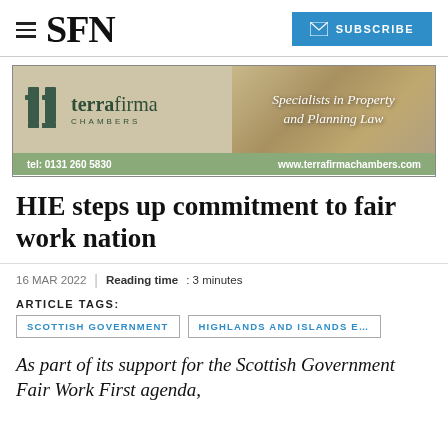SFN | SUBSCRIBE
[Figure (other): Terra Firma Chambers advertisement banner. Shows logo with stylized 'ff' icon, text 'terra firma CHAMBERS', and 'Specialists in Property and Planning Law'. Bottom bar: tel: 0131 260 5830, www.terrafirmachambers.com]
HIE steps up commitment to fair work nation
16 MAR 2022 | Reading time: 3 minutes
ARTICLE TAGS:
SCOTTISH GOVERNMENT
HIGHLANDS AND ISLANDS E…
As part of its support for the Scottish Government Fair Work First agenda,